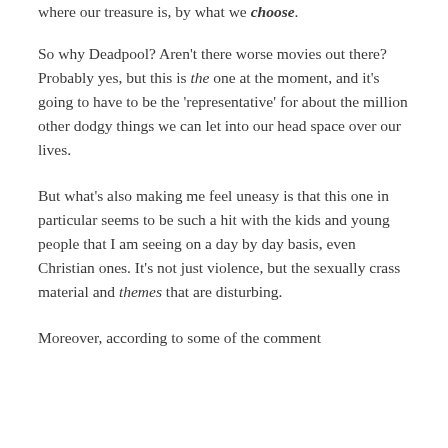where our treasure is, by what we choose.
So why Deadpool? Aren't there worse movies out there? Probably yes, but this is the one at the moment, and it's going to have to be the 'representative' for about the million other dodgy things we can let into our head space over our lives.
But what's also making me feel uneasy is that this one in particular seems to be such a hit with the kids and young people that I am seeing on a day by day basis, even Christian ones. It's not just violence, but the sexually crass material and themes that are disturbing.
Moreover, according to some of the comment